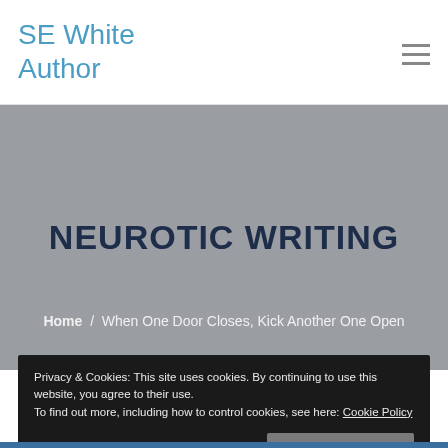SE White Author
NEUROTIC WRITING
Home / When One Door Closes, Kick Another One Open
Privacy & Cookies: This site uses cookies. By continuing to use this website, you agree to their use.
To find out more, including how to control cookies, see here: Cookie Policy
Close and accept